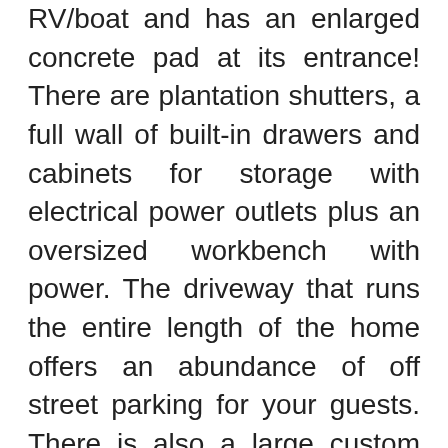RV/boat and has an enlarged concrete pad at its entrance! There are plantation shutters, a full wall of built-in drawers and cabinets for storage with electrical power outlets plus an oversized workbench with power. The driveway that runs the entire length of the home offers an abundance of off street parking for your guests. There is also a large custom built storage building in the rear yard that offers electricity, a window and an enlarged easy access side door for storing a four wheeler, kayaks, bicycles and tools. Additionally, it could be converted into an office/studio.

This property is lushly landscaped and